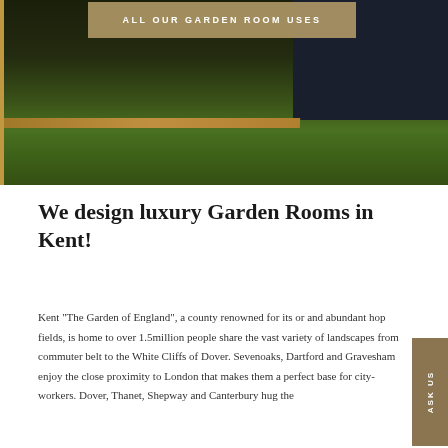[Figure (photo): Outdoor photo showing a garden area with green grass, a dark navy blue structure/building on the right, and wooden decking or framing. A tan/beige banner overlay reads 'ALL OUR GARDEN ROOM USES' in white uppercase text.]
We design luxury Garden Rooms in Kent!
Kent “The Garden of England”, a county renowned for its or and abundant hop fields, is home to over 1.5million people share the vast variety of landscapes from commuter belt to the White Cliffs of Dover. Sevenoaks, Dartford and Gravesham enjoy the close proximity to London that makes them a perfect base for city-workers. Dover, Thanet, Shepway and Canterbury hug the